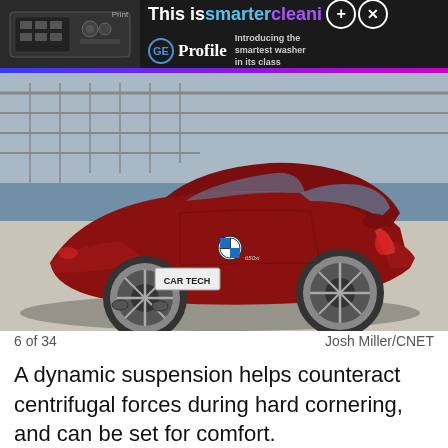[Figure (screenshot): GE Profile washing machine advertisement banner: black background with appliance image on left, text 'This is smarter cleani...' with blue 'smarter' and purple 'cleani', plus/close buttons, GE Profile logo, 'Introducing the smartest washer in its class']
[Figure (photo): Rear three-quarter view of a dark red BMW 6 Series coupe (license plate reads 'CAR TECH') parked on a concrete surface with a bridge and water visible in the background. Photo by Josh Miller/CNET.]
6 of 34                                Josh Miller/CNET
A dynamic suspension helps counteract centrifugal forces during hard cornering, and can be set for comfort.